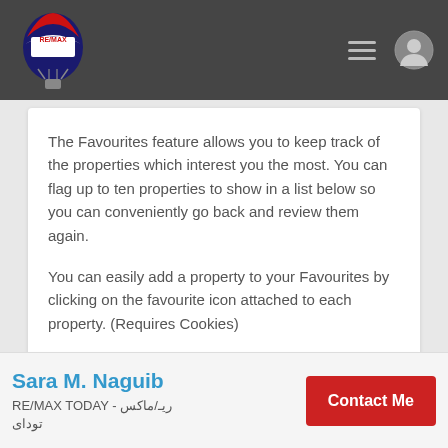[Figure (logo): RE/MAX logo with hot air balloon in red, white, and blue, on dark grey header bar with hamburger menu and user profile icon]
The Favourites feature allows you to keep track of the properties which interest you the most.  You can flag up to ten properties to show in a list below so you can conveniently go back and review them again.

You can easily add a property to your Favourites by clicking on the favourite icon attached to each property. (Requires Cookies)
RECENTLY VIEWED
Share & Compare
Sara M. Naguib
RE/MAX TODAY - ريـ/ماكس تودای